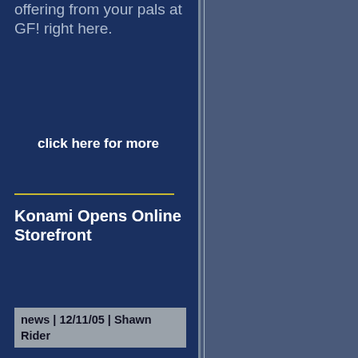offering from your pals at GF! right here.
click here for more
Konami Opens Online Storefront
news | 12/11/05 | Shawn Rider
Konami has announced that they will begin selling their products directly to customers via their new online